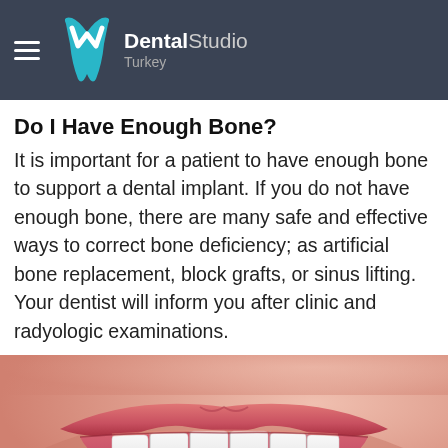Dental Studio Turkey
Do I Have Enough Bone?
It is important for a patient to have enough bone to support a dental implant. If you do not have enough bone, there are many safe and effective ways to correct bone deficiency; as artificial bone replacement, block grafts, or sinus lifting. Your dentist will inform you after clinic and radyologic examinations.
[Figure (photo): Close-up photo of a person smiling showing white teeth and pink lips]